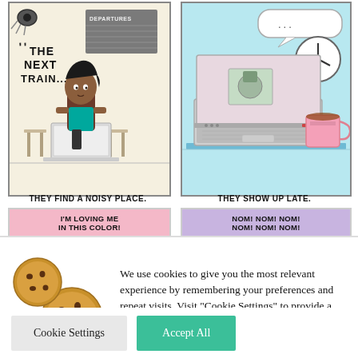[Figure (illustration): Two-panel comic strip. Left panel: A person sitting at a train station with 'DEPARTURES' board, text reads 'THE NEXT TRAIN...' Caption: 'THEY FIND A NOISY PLACE.' Pink banner: 'I'M LOVING ME IN THIS COLOR!' Right panel: A laptop with a loading screen and a clock, coffee mug on desk, speech bubble '...'. Caption: 'THEY SHOW UP LATE.' Purple banner: 'NOM! NOM! NOM! NOM! NOM! NOM!']
We use cookies to give you the most relevant experience by remembering your preferences and repeat visits. Visit "Cookie Settings" to provide a controlled consent.
Cookie Settings
Accept All